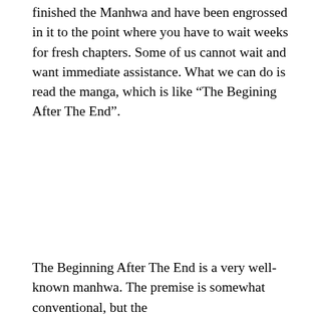finished the Manhwa and have been engrossed in it to the point where you have to wait weeks for fresh chapters. Some of us cannot wait and want immediate assistance. What we can do is read the manga, which is like “The Begining After The End”.
The Beginning After The End is a very well-known manhwa. The premise is somewhat conventional, but the